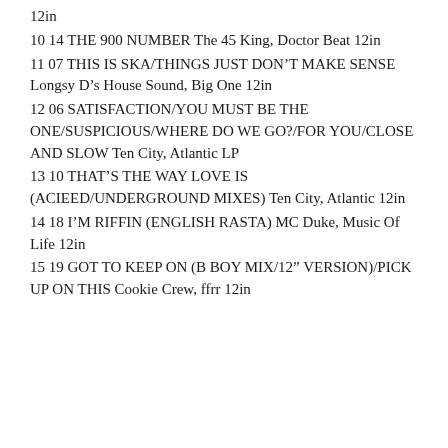12in
10 14 THE 900 NUMBER The 45 King, Doctor Beat 12in
11 07 THIS IS SKA/THINGS JUST DON'T MAKE SENSE Longsy D's House Sound, Big One 12in
12 06 SATISFACTION/YOU MUST BE THE ONE/SUSPICIOUS/WHERE DO WE GO?/FOR YOU/CLOSE AND SLOW Ten City, Atlantic LP
13 10 THAT'S THE WAY LOVE IS (ACIEED/UNDERGROUND MIXES) Ten City, Atlantic 12in
14 18 I'M RIFFIN (ENGLISH RASTA) MC Duke, Music Of Life 12in
15 19 GOT TO KEEP ON (B BOY MIX/12" VERSION)/PICK UP ON THIS Cookie Crew, ffrr 12in